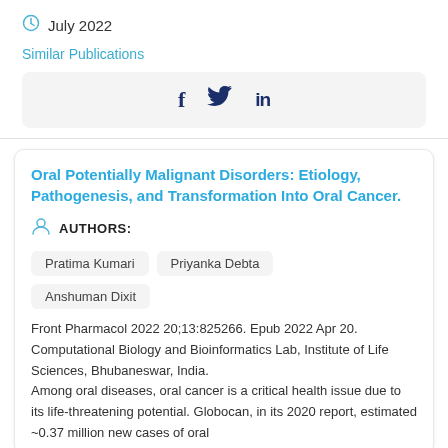July 2022
Similar Publications
[Figure (other): Social sharing icons: Facebook (f), Twitter (bird), LinkedIn (in)]
Oral Potentially Malignant Disorders: Etiology, Pathogenesis, and Transformation Into Oral Cancer.
AUTHORS:
Pratima Kumari
Priyanka Debta
Anshuman Dixit
Front Pharmacol 2022 20;13:825266. Epub 2022 Apr 20. Computational Biology and Bioinformatics Lab, Institute of Life Sciences, Bhubaneswar, India.
Among oral diseases, oral cancer is a critical health issue due to its life-threatening potential. Globocan, in its 2020 report, estimated ~0.37 million new cases of oral